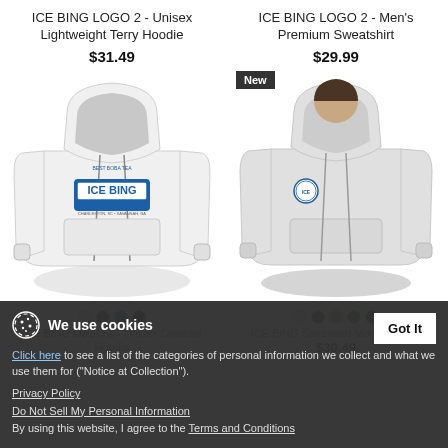ICE BING LOGO 2 - Unisex Lightweight Terry Hoodie
$31.49
[Figure (photo): White unisex lightweight terry hoodie with ICE BING logo on chest]
ICE BING LOGO 2 - Men's Premium Sweatshirt
$29.99
[Figure (photo): Light gray men's premium sweatshirt with small circular ICE BING logo on chest, labeled 'New']
ICE BING LOGO 2 - Unisex Contrast Hoodie
ICE BING Savannah Men's Hoodie
$30.49
We use cookies
Click here to see a list of the categories of personal information we collect and what we use them for ("Notice at Collection").
Privacy Policy
Do Not Sell My Personal Information
By using this website, I agree to the Terms and Conditions